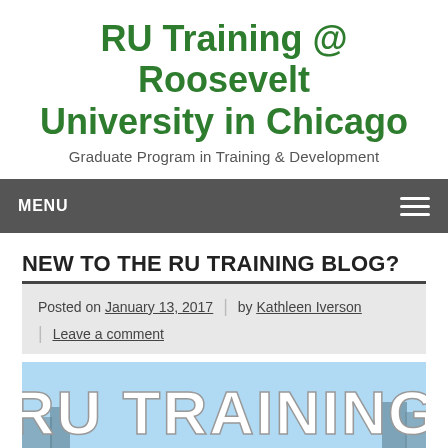RU Training @ Roosevelt University in Chicago
Graduate Program in Training & Development
MENU
NEW TO THE RU TRAINING BLOG?
Posted on January 13, 2017 | by Kathleen Iverson | Leave a comment
[Figure (screenshot): RU TRAINING banner image with city skyline background in blue]